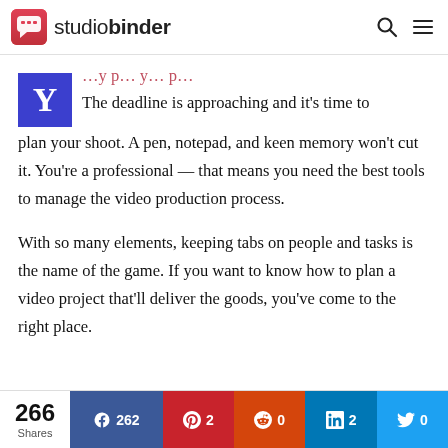studiobinder
The deadline is approaching and it’s time to plan your shoot. A pen, notepad, and keen memory won’t cut it. You’re a professional — that means you need the best tools to manage the video production process.
With so many elements, keeping tabs on people and tasks is the name of the game. If you want to know how to plan a video project that’ll deliver the goods, you’ve come to the right place.
266 Shares | Facebook 262 | Pinterest 2 | Reddit 0 | LinkedIn 2 | Twitter 0